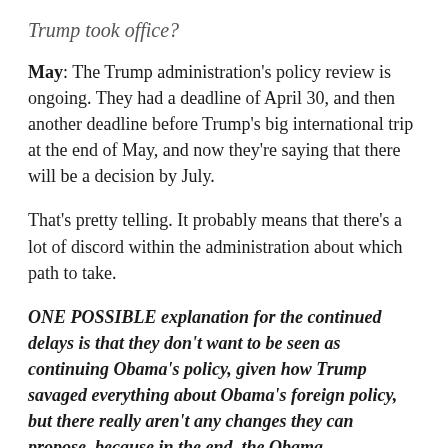Trump took office?
May: The Trump administration's policy review is ongoing. They had a deadline of April 30, and then another deadline before Trump's big international trip at the end of May, and now they're saying that there will be a decision by July.
That's pretty telling. It probably means that there's a lot of discord within the administration about which path to take.
ONE POSSIBLE explanation for the continued delays is that they don't want to be seen as continuing Obama's policy, given how Trump savaged everything about Obama's foreign policy, but there really aren't any changes they can propose, because in the end, the Obama administration was pursuing a policy that the Trump administration largely agrees with.